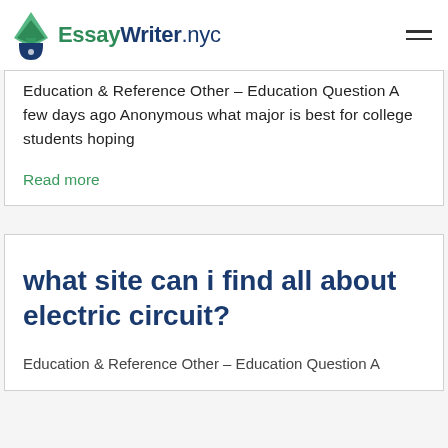EssayWriter.nyc
Education & Reference Other – Education Question A few days ago Anonymous what major is best for college students hoping
Read more
what site can i find all about electric circuit?
Education & Reference Other – Education Question A